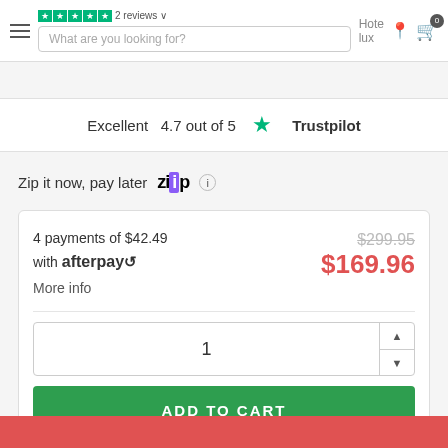Hotelux — Navigation bar with hamburger, search, location, cart (0 items)
Excellent   4.7 out of 5 ★ Trustpilot
Zip it now, pay later  ZIP  ⓘ
4 payments of $42.49 with afterpay↺   More info    $299.95  $169.96
1
ADD TO CART